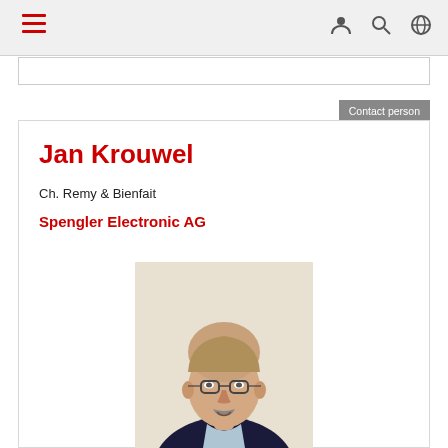Navigation bar with hamburger menu and icons
Contact person
Jan Krouwel
Ch. Remy & Bienfait
Spengler Electronic AG
[Figure (photo): Portrait photo of Jan Krouwel, an older bald man with glasses and a moustache, wearing a dark sweater, smiling slightly against a light background.]